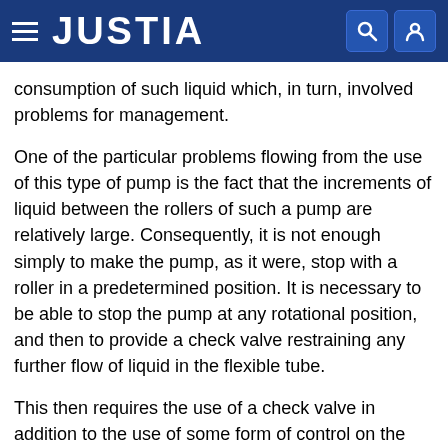JUSTIA
consumption of such liquid which, in turn, involved problems for management.
One of the particular problems flowing from the use of this type of pump is the fact that the increments of liquid between the rollers of such a pump are relatively large. Consequently, it is not enough simply to make the pump, as it were, stop with a roller in a predetermined position. It is necessary to be able to stop the pump at any rotational position, and then to provide a check valve restraining any further flow of liquid in the flexible tube.
This then requires the use of a check valve in addition to the use of some form of control on the rotation of the pump. There is, therefore, inevitably a certain length of tube between the pump and the check valve. Liquid that